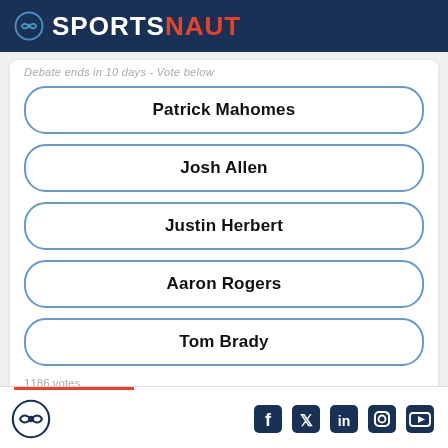SPORTSNAUT
Debate ends in 10 days - Vote below
Patrick Mahomes
Josh Allen
Justin Herbert
Aaron Rogers
Tom Brady
1186 votes
Sportsnaut footer with social media icons: Facebook, Twitter, LinkedIn, Instagram, YouTube